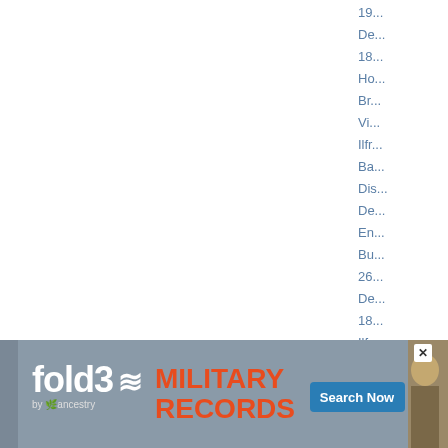19...
De...
18...
Ho...
Br...
Vi...
Ilfr...
Ba...
Dis...
De...
En...
Bu...
26...
De...
18...
Ilfr...
Ba...
Dis...
De...
En...
[Figure (screenshot): fold3 by ancestry advertisement banner for Military Records with Search Now button and soldier photo]